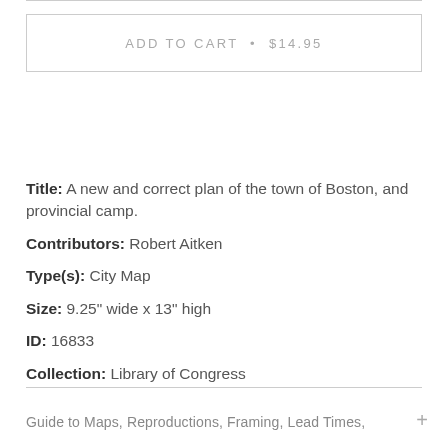ADD TO CART • $14.95
Title: A new and correct plan of the town of Boston, and provincial camp.
Contributors: Robert Aitken
Type(s): City Map
Size: 9.25" wide x 13" high
ID: 16833
Collection: Library of Congress
Guide to Maps, Reproductions, Framing, Lead Times,